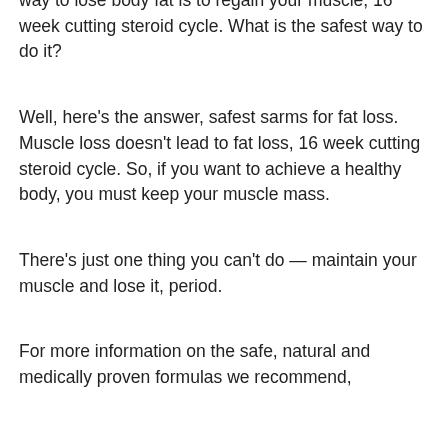way to lose body fat is to regain your muscle, 16 week cutting steroid cycle. What is the safest way to do it?
Well, here's the answer, safest sarms for fat loss. Muscle loss doesn't lead to fat loss, 16 week cutting steroid cycle. So, if you want to achieve a healthy body, you must keep your muscle mass.
There's just one thing you can't do — maintain your muscle and lose it, period.
For more information on the safe, natural and medically proven formulas we recommend,
S4 sarm fat loss
Stenabolic (or more commonly known as SR9009) is a newer SARM that is also